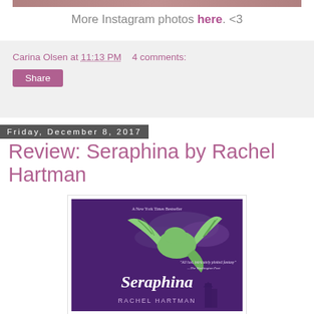[Figure (photo): Top portion of an Instagram photo strip/bar]
More Instagram photos here. <3
Carina Olsen at 11:13 PM   4 comments:
Share
Friday, December 8, 2017
Review: Seraphina by Rachel Hartman
[Figure (photo): Book cover of Seraphina by Rachel Hartman — purple background with a green dragon and the title 'Seraphina' by Rachel Hartman, New York Times Bestseller]